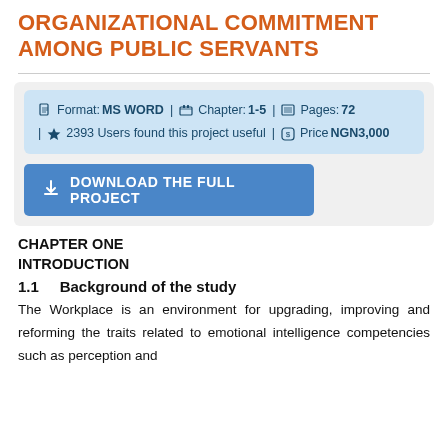ORGANIZATIONAL COMMITMENT AMONG PUBLIC SERVANTS
Format: MS WORD | Chapter: 1-5 | Pages: 72 | 2393 Users found this project useful | Price NGN3,000
[Figure (other): Download the full project button]
CHAPTER ONE
INTRODUCTION
1.1    Background of the study
The Workplace is an environment for upgrading, improving and reforming the traits related to emotional intelligence competencies such as perception and